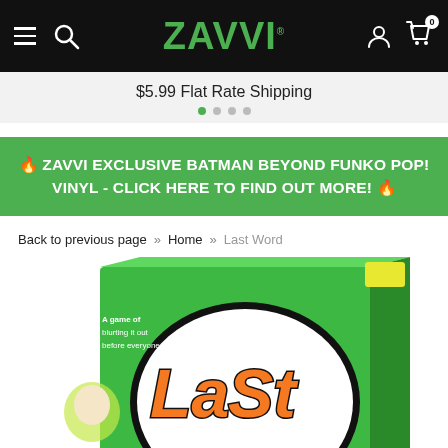ZAVVI. navigation bar with hamburger menu, search, account, and cart (badge: 0)
$5.99 Flat Rate Shipping
🔥 ZAVVI EXCLUSIVE BATMAN BEYOND FUNKO POP! VINYL - CLICK HERE TO FIND OUT MORE! 🔥
Back to previous page  »  Home  »  Last Word
[Figure (photo): Product box for 'Last Word' board game. Bright green box with a large white circle on the front. Inside the circle is the game title 'Last Word' in large orange bubble letters with black outlines. The game box is shown at an angle. Part of a cartoon character is visible on the left edge.]